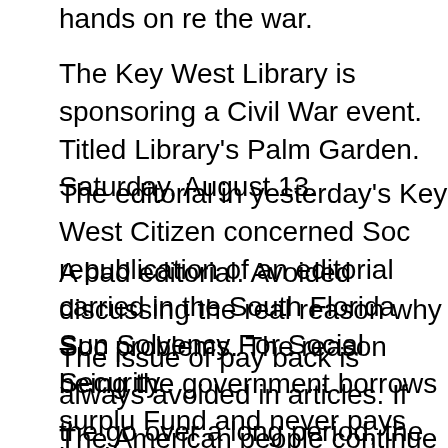hands on re the war.
The Key West Library is sponsoring a Civil War event. Titled Library's Palm Garden. Saturday, August 13.
The editorial in yesterday's Key West Citizen concerned Soc republication of an editorial carried in the South Florida Sun Solvency For Social Security.
A bad editorial. Avoided discussing the real reason why Soc problems. The reason being the government borrows surplu Fund and never pays back. The government owes Social Se Security is the biggest creditor of the United States. Ahead e
The issue of pay back is always avoided in articles. If the go over a long period, the monies would be more than efficien payments at a level where cuts would not be required. Not e
The American people continue to get screwed by a governm